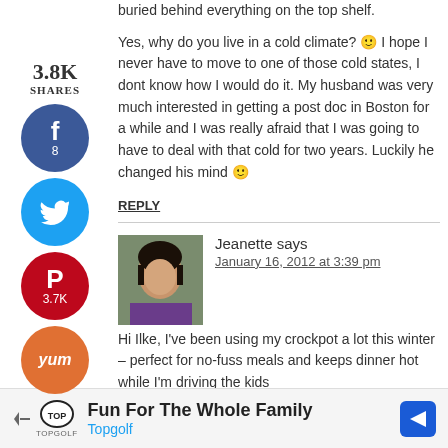buried behind everything on the top shelf. Yes, why do you live in a cold climate? 🙂 I hope I never have to move to one of those cold states, I dont know how I would do it. My husband was very much interested in getting a post doc in Boston for a while and I was really afraid that I was going to have to deal with that cold for two years. Luckily he changed his mind 🙂
3.8K SHARES
[Figure (logo): Facebook share button circle, dark blue, with f icon and count 8]
[Figure (logo): Twitter share button circle, light blue, with bird icon]
[Figure (logo): Pinterest share button circle, red, with P icon and count 3.7K]
[Figure (logo): Yummly share button circle, orange, with Yum text]
REPLY
[Figure (photo): Profile photo of Jeanette, an Asian woman with dark hair, wearing a purple top, outdoors with green background]
Jeanette says
January 16, 2012 at 3:39 pm
Hi Ilke, I've been using my crockpot a lot this winter – perfect for no-fuss meals and keeps dinner hot while I'm driving the kids
[Figure (infographic): Topgolf advertisement banner: Fun For The Whole Family, with Topgolf logo and arrow icon]